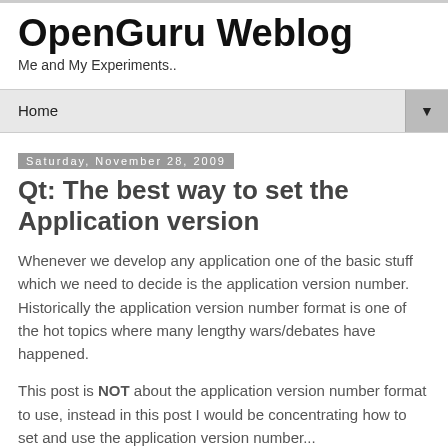OpenGuru Weblog
Me and My Experiments..
Home
Saturday, November 28, 2009
Qt: The best way to set the Application version
Whenever we develop any application one of the basic stuff which we need to decide is the application version number. Historically the application version number format is one of the hot topics where many lengthy wars/debates have happened.
This post is NOT about the application version number format to use, instead in this post I would be concentrating how to set and use the application version number...